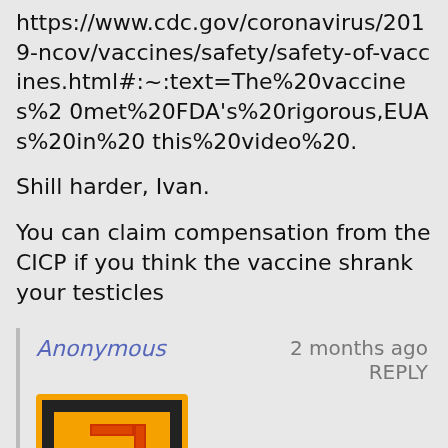https://www.cdc.gov/coronavirus/2019-ncov/vaccines/safety/safety-of-vaccines.html#:~:text=The%20vaccines%20met%20FDA's%20rigorous,EUAs%20in%20this%20video%20.
Shill harder, Ivan.
You can claim compensation from the CICP if you think the vaccine shrank your testicles
Anonymous
2 months ago
REPLY
[Figure (illustration): Yellow square with question mark icon, resembling a Mario game block]
KILL YOURSELF